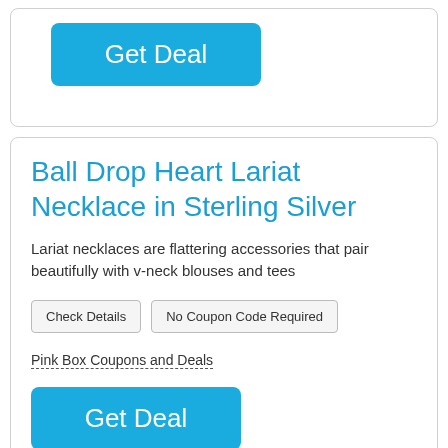[Figure (other): Get Deal button (blue rounded rectangle) at top of page]
Ball Drop Heart Lariat Necklace in Sterling Silver
Lariat necklaces are flattering accessories that pair beautifully with v-neck blouses and tees
Check Details | No Coupon Code Required
Pink Box Coupons and Deals
[Figure (other): Get Deal button (blue rounded rectangle)]
LG Smartphone with Free Cellular Service from